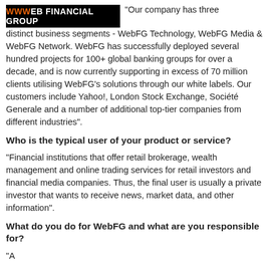[Figure (logo): WWWeb Financial Group logo — black background with orange 'WWW' and 'EB' text and white 'FINANCIAL GROUP' text]
"Our company has three distinct business segments - WebFG Technology, WebFG Media & WebFG Network. WebFG has successfully deployed several hundred projects for 100+ global banking groups for over a decade, and is now currently supporting in excess of 70 million clients utilising WebFG's solutions through our white labels. Our customers include Yahoo!, London Stock Exchange, Société Generale and a number of additional top-tier companies from different industries".
Who is the typical user of your product or service?
"Financial institutions that offer retail brokerage, wealth management and online trading services for retail investors and financial media companies. Thus, the final user is usually a private investor that wants to receive news, market data, and other information".
What do you do for WebFG and what are you responsible for?
"A text that continues below the visible area..."